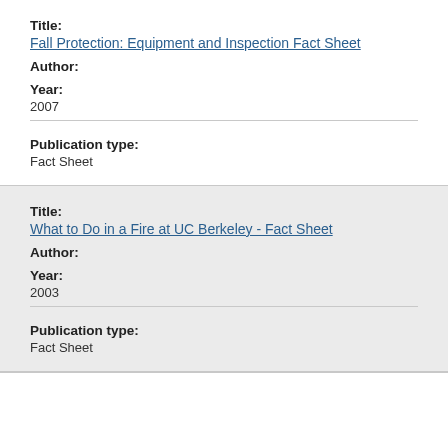Title:
Fall Protection: Equipment and Inspection Fact Sheet
Author:
Year:
2007
Publication type:
Fact Sheet
Title:
What to Do in a Fire at UC Berkeley - Fact Sheet
Author:
Year:
2003
Publication type:
Fact Sheet